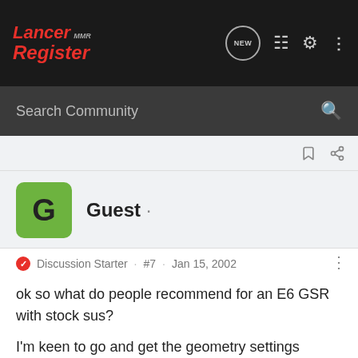Lancer MMR Register — Search Community
Guest ·
Discussion Starter · #7 · Jan 15, 2002
ok so what do people recommend for an E6 GSR with stock sus?

I'm keen to go and get the geometry settings sorted as I'd like a bit more oversteer.

Ta
Ryan